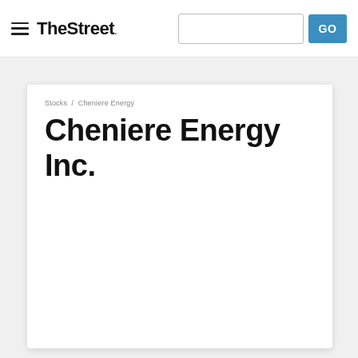TheStreet
Cheniere Energy Inc.